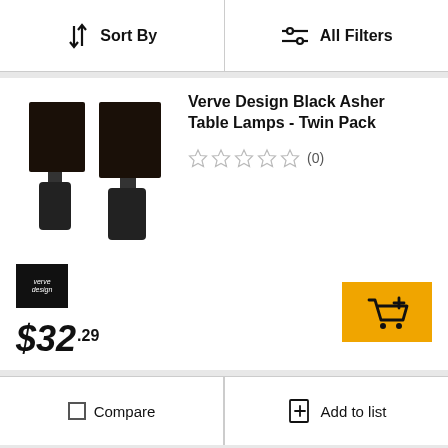Sort By | All Filters
[Figure (photo): Two black Verve Design Asher table lamps with dark cylindrical shades and black ceramic bases]
Verve Design Black Asher Table Lamps - Twin Pack
★★★★★ (0)
[Figure (logo): Verve Design brand logo - white text on black square background]
$32.29
Compare
Add to list
Verve Design Miriam Metal And Glass Floor